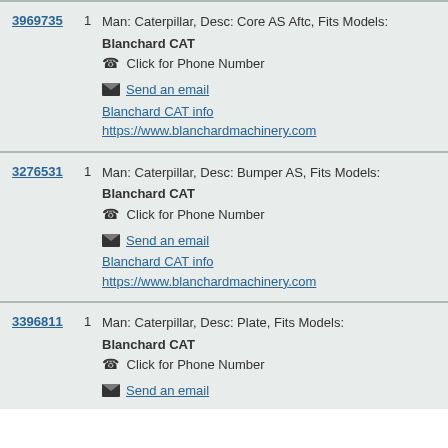3969735 | 1 | Man: Caterpillar, Desc: Core AS Aftc, Fits Models: Blanchard CAT | Click for Phone Number | Send an email | Blanchard CAT info | https://www.blanchardmachinery.com
3276531 | 1 | Man: Caterpillar, Desc: Bumper AS, Fits Models: Blanchard CAT | Click for Phone Number | Send an email | Blanchard CAT info | https://www.blanchardmachinery.com
3396811 | 1 | Man: Caterpillar, Desc: Plate, Fits Models: Blanchard CAT | Click for Phone Number | Send an email